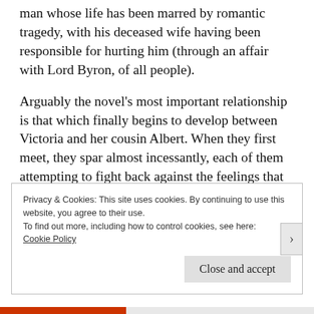man whose life has been marred by romantic tragedy, with his deceased wife having been responsible for hurting him (through an affair with Lord Byron, of all people).
Arguably the novel's most important relationship is that which finally begins to develop between Victoria and her cousin Albert. When they first meet, they spar almost incessantly, each of them attempting to fight back against the feelings that they clearly feel for one another. It is only as they each begin to let their guards down and to
Privacy & Cookies: This site uses cookies. By continuing to use this website, you agree to their use.
To find out more, including how to control cookies, see here: Cookie Policy